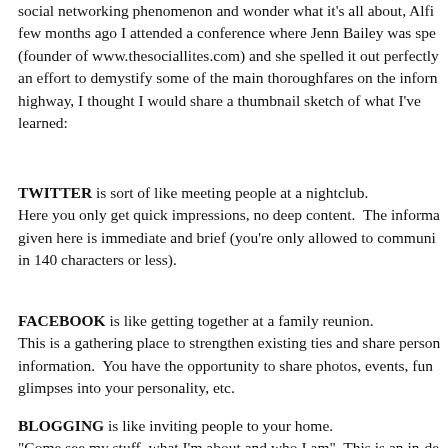social networking phenomenon and wonder what it's all about, Alfi few months ago I attended a conference where Jenn Bailey was spe (founder of www.thesociallites.com) and she spelled it out perfectly an effort to demystify some of the main thoroughfares on the inforn highway, I thought I would share a thumbnail sketch of what I've learned:
TWITTER is sort of like meeting people at a nightclub. Here you only get quick impressions, no deep content. The informa given here is immediate and brief (you're only allowed to communi in 140 characters or less).
FACEBOOK is like getting together at a family reunion. This is a gathering place to strengthen existing ties and share person information. You have the opportunity to share photos, events, fun glimpses into your personality, etc.
BLOGGING is like inviting people to your home. "Come see my stuff, what I'm about and who I am". This is an in-de